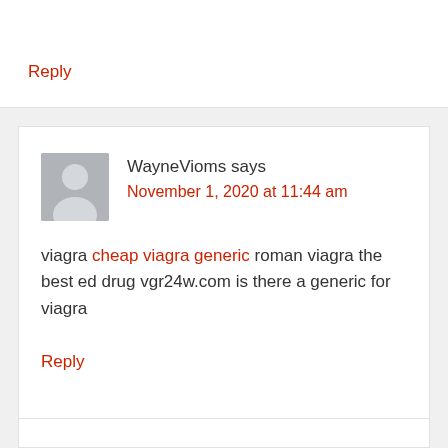Reply
WayneVioms says
November 1, 2020 at 11:44 am
viagra cheap viagra generic roman viagra the best ed drug vgr24w.com is there a generic for viagra
Reply